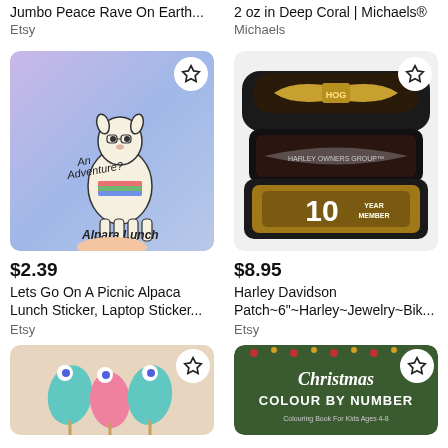Jumbo Peace Rave On Earth...
2 oz in Deep Coral | Michaels®
Etsy
Michaels
[Figure (photo): Alpaca sticker held by a hand against a purple holographic background, text reads 'An Adventure? Alpara Lunch']
[Figure (photo): Harley Davidson embroidered patches stacked, including a 10 Year Member Harley Owners Group patch]
$2.39
Lets Go On A Picnic Alpaca Lunch Sticker, Laptop Sticker...
Etsy
$8.95
Harley Davidson Patch~6"~Harley~Jewelry~Bik...
Etsy
[Figure (photo): Mermaid tail cupcake toppers or decorations with glitter tails and googly eyes]
[Figure (photo): Christmas Colour By Number colouring book cover on dark green background]